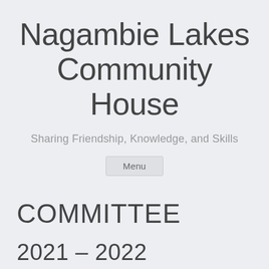Nagambie Lakes Community House
Sharing Friendship, Knowledge, and Skills
Menu
COMMITTEE
2021 – 2022
We are a team of volunteers